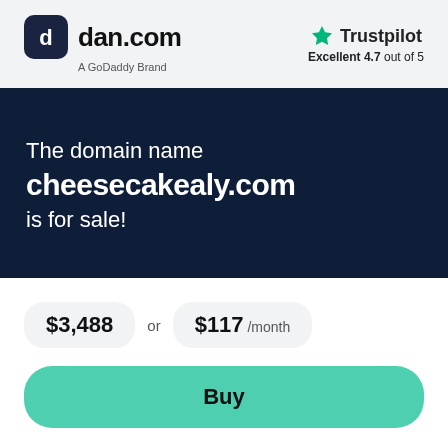[Figure (logo): dan.com logo with icon and 'A GoDaddy Brand' subtitle]
[Figure (logo): Trustpilot logo with green star and 'Excellent 4.7 out of 5' rating]
The domain name cheesecakealy.com is for sale!
$3,488 or $117 /month
Buy